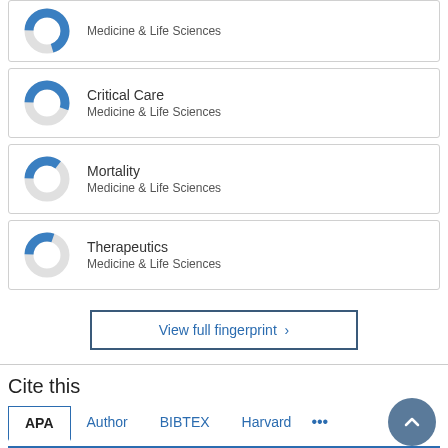[Figure (donut-chart): Partial donut chart for Medicine & Life Sciences (top, cropped)]
[Figure (donut-chart): Donut chart for Critical Care, Medicine & Life Sciences, approximately 55% fill]
[Figure (donut-chart): Donut chart for Mortality, Medicine & Life Sciences, approximately 35% fill]
[Figure (donut-chart): Donut chart for Therapeutics, Medicine & Life Sciences, approximately 30% fill]
View full fingerprint >
Cite this
APA  Author  BIBTEX  Harvard  ...